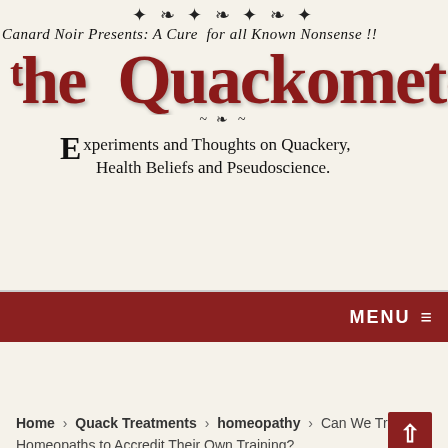[Figure (screenshot): The Quackometer website header banner with ornate vintage typography. Shows 'Canard Noir Presents: A Cure for all Known Nonsense!!' in italic serif, large decorative 'The Quackometer' title in dark red, and subtitle 'Experiments and Thoughts on Quackery, Health Beliefs and Pseudoscience.']
MENU ≡
Home › Quack Treatments › homeopathy › Can We Trust Homeopaths to Accredit Their Own Training?
Can We Trust Homeopaths to